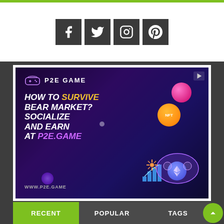[Figure (infographic): Social media icons: Facebook, Twitter, Instagram, Pinterest in dark square boxes on white background]
[Figure (infographic): P2E Game advertisement banner with dark purple background. Text reads: P2E GAME, HOW TO SURVIVE BEAR MARKET? SOCIALIZE AND EARN AT P2E.GAME, WWW.P2E.GAME. Decorative game controller with NFT and Ethereum coin graphics.]
RECENT | POPULAR | TAGS